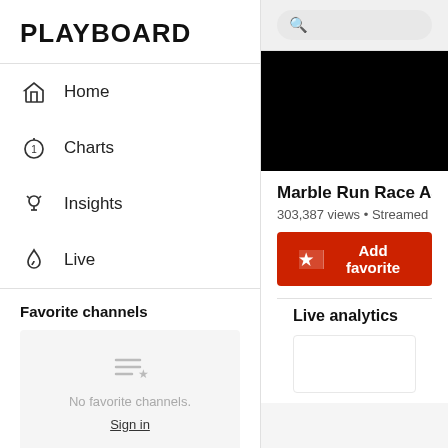PLAYBOARD
Home
Charts
Insights
Live
Favorite channels
No favorite channels.
Sign in
Favorite videos
Marble Run Race ASM
303,387 views • Streamed li
Add favorite
Live analytics